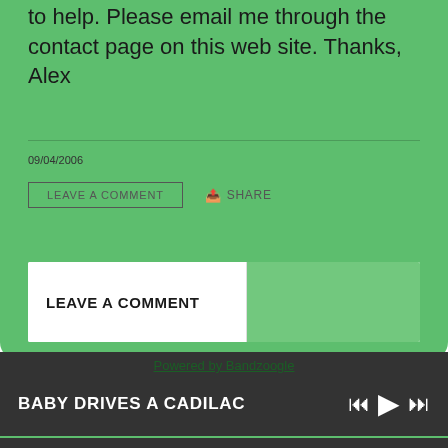to help. Please email me through the contact page on this web site. Thanks, Alex
09/04/2006
LEAVE A COMMENT
SHARE
LEAVE A COMMENT
Powered by Bandzoogle
BABY DRIVES A CADILAC